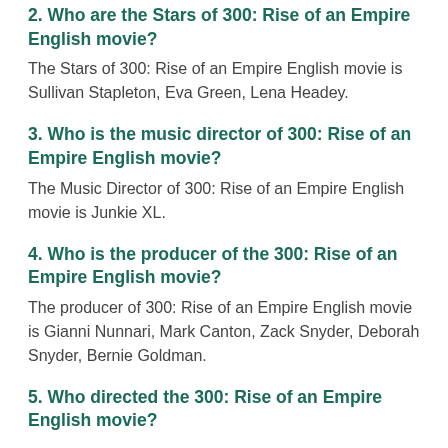2. Who are the Stars of 300: Rise of an Empire English movie?
The Stars of 300: Rise of an Empire English movie is Sullivan Stapleton, Eva Green, Lena Headey.
3. Who is the music director of 300: Rise of an Empire English movie?
The Music Director of 300: Rise of an Empire English movie is Junkie XL.
4. Who is the producer of the 300: Rise of an Empire English movie?
The producer of 300: Rise of an Empire English movie is Gianni Nunnari, Mark Canton, Zack Snyder, Deborah Snyder, Bernie Goldman.
5. Who directed the 300: Rise of an Empire English movie?